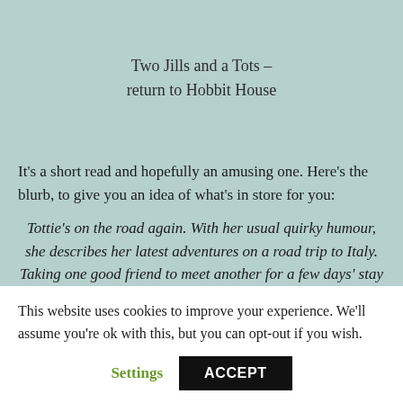Two Jills and a Tots – return to Hobbit House
It's a short read and hopefully an amusing one. Here's the blurb, to give you an idea of what's in store for you:
Tottie's on the road again. With her usual quirky humour, she describes her latest adventures on a road trip to Italy. Taking one good friend to meet another for a few days' stay in a Hobbit House.
This website uses cookies to improve your experience. We'll assume you're ok with this, but you can opt-out if you wish.